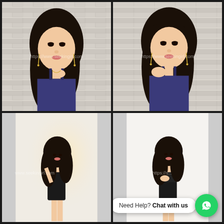[Figure (photo): Young Asian woman with long black hair wearing black spaghetti strap dress, touching her necklace, brick wall background, watermark visible]
[Figure (photo): Young Asian woman with long black hair wearing black spaghetti strap dress, posing with hand on shoulder, similar brick wall background, watermark visible]
[Figure (photo): Young Asian woman in black sheer lingerie dress posing against a light wall, watermark visible]
[Figure (photo): Young Asian woman in black lingerie dress standing against white wall smiling, watermark visible, chat widget overlay with Need Help? Chat with us text and WhatsApp button]